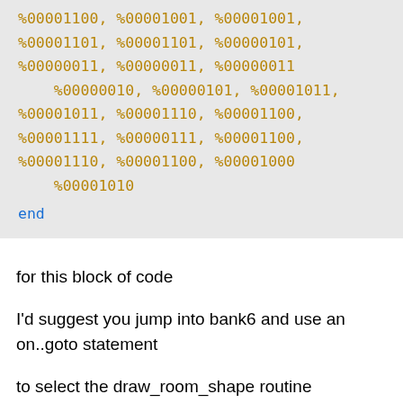[Figure (screenshot): Code block showing assembly-style binary data values and an 'end' keyword, displayed in a grey box with monospace font. Values in dark yellow/olive color, 'end' in blue.]
for this block of code
I'd suggest you jump into bank6 and use an on..goto statement
to select the draw_room_shape routine
it will take much less code and less time
if you can save room you can fit more in a bank and not have to waste
time doing bank switches